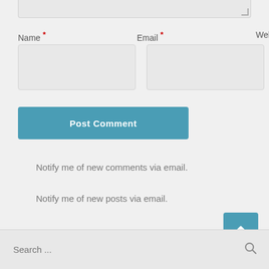[Figure (screenshot): Partial textarea input field at top of page with resize handle in bottom-right corner]
Name *
Email *
Website
[Figure (screenshot): Three empty form input fields: Name, Email, Website]
[Figure (screenshot): Blue 'Post Comment' button]
Notify me of new comments via email.
Notify me of new posts via email.
[Figure (infographic): Teal square button with white upward arrow for back-to-top navigation]
[Figure (screenshot): Search bar with placeholder text 'Search ...' and a magnifying glass icon]